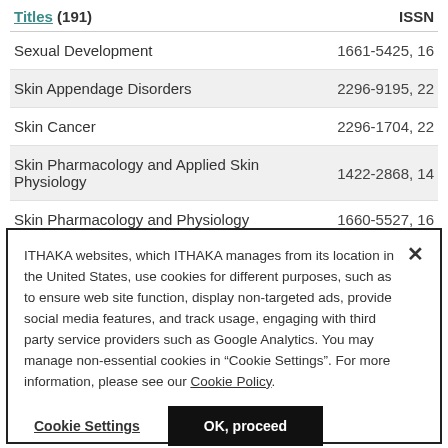| Titles (191) | ISSN |
| --- | --- |
| Sexual Development | 1661-5425, 16 |
| Skin Appendage Disorders | 2296-9195, 22 |
| Skin Cancer | 2296-1704, 22 |
| Skin Pharmacology and Applied Skin Physiology | 1422-2868, 14 |
| Skin Pharmacology and Physiology | 1660-5527, 16 |
ITHAKA websites, which ITHAKA manages from its location in the United States, use cookies for different purposes, such as to ensure web site function, display non-targeted ads, provide social media features, and track usage, engaging with third party service providers such as Google Analytics. You may manage non-essential cookies in “Cookie Settings”. For more information, please see our Cookie Policy.